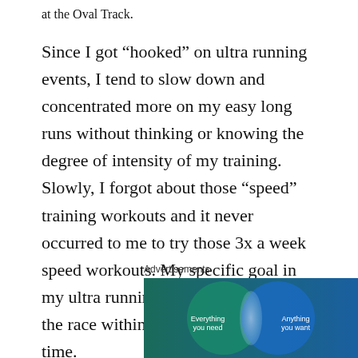at the Oval Track.
Since I got “hooked” on ultra running events, I tend to slow down and concentrated more on my easy long runs without thinking or knowing the degree of intensity of my training. Slowly, I forgot about those “speed” training workouts and it never occurred to me to try those 3x a week speed workouts. My specific goal in my ultra running events was to finish the race within the prescribed cut-off time.
Advertisements
[Figure (illustration): Advertisement image showing a Venn diagram with two overlapping circles on a blue-green background. Left circle (teal/green) labeled 'Everything you need', right circle (blue) labeled 'Anything you want', with overlapping center area in lighter blue/white.]